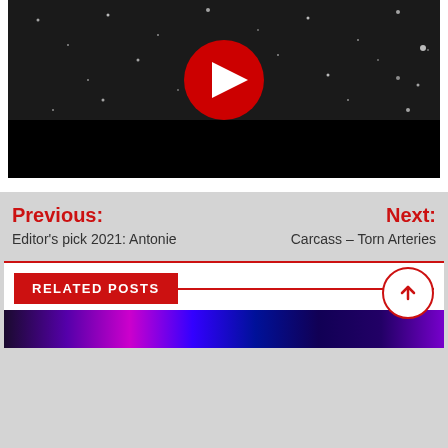[Figure (screenshot): YouTube video thumbnail showing dark space/starfield background with a YouTube play button (red circle with white triangle) in the center]
Previous:
Editor's pick 2021: Antonie
Next:
Carcass – Torn Arteries
RELATED POSTS
[Figure (photo): Partially visible thumbnail at bottom of page with colorful vertical light streaks]